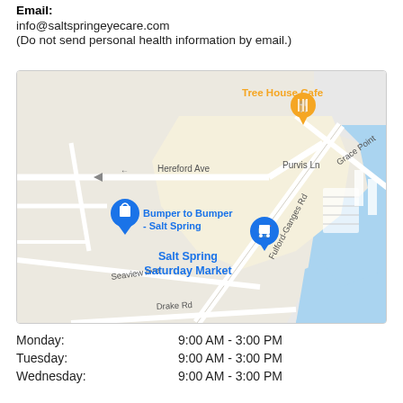Email:
info@saltspringeyecare.com
(Do not send personal health information by email.)
[Figure (map): Google Maps screenshot showing the area around Ganges, Salt Spring Island. Landmarks visible include Tree House Cafe (orange marker), Bumper to Bumper - Salt Spring (blue pin), and Salt Spring Saturday Market (blue pin with cart icon). Roads include Hereford Ave, Purvis Ln, Grace Point, Fulford-Ganges Rd, Seaview Ave, and Drake Rd. Water (blue) is visible on the right side.]
Monday: 9:00 AM - 3:00 PM
Tuesday: 9:00 AM - 3:00 PM
Wednesday: 9:00 AM - 3:00 PM